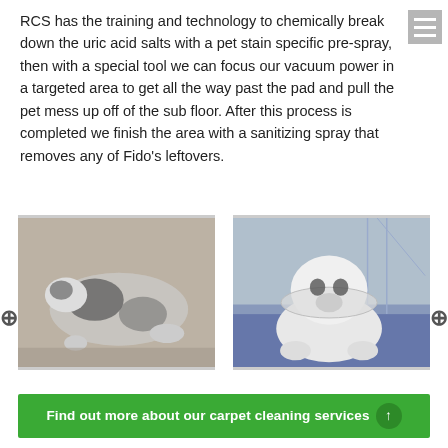RCS has the training and technology to chemically break down the uric acid salts with a pet stain specific pre-spray, then with a special tool we can focus our vacuum power in a targeted area to get all the way past the pad and pull the pet mess up off of the sub floor. After this process is completed we finish the area with a sanitizing spray that removes any of Fido's leftovers.
[Figure (photo): A cat lying on its side on carpet, black and white coloring]
[Figure (photo): A white dog wearing a cone/e-collar, sitting on carpet near a wall]
Find out more about our carpet cleaning services